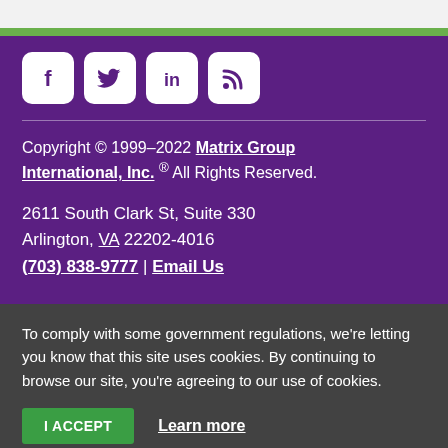[Figure (logo): Social media icons: Facebook, Twitter, LinkedIn, RSS feed — white icons on white rounded-rectangle backgrounds on purple background]
Copyright © 1999–2022 Matrix Group International, Inc. ® All Rights Reserved.
2611 South Clark St, Suite 330
Arlington, VA 22202-4016
(703) 838-9777 | Email Us
To comply with some government regulations, we're letting you know that this site uses cookies. By continuing to browse our site, you're agreeing to our use of cookies.
I ACCEPT   Learn more